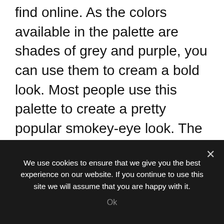find online. As the colors available in the palette are shades of grey and purple, you can use them to cream a bold look. Most people use this palette to create a pretty popular smokey-eye look. The palette consists of two foundation shades that also works great as a concealer.
You can choose multiple shades among the six hues to create a fantastic look. As the product
We use cookies to ensure that we give you the best experience on our website. If you continue to use this site we will assume that you are happy with it.
Ok